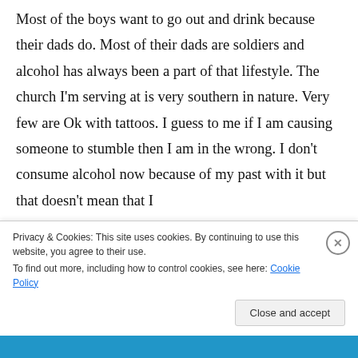Most of the boys want to go out and drink because their dads do. Most of their dads are soldiers and alcohol has always been a part of that lifestyle. The church I'm serving at is very southern in nature. Very few are Ok with tattoos. I guess to me if I am causing someone to stumble then I am in the wrong. I don't consume alcohol now because of my past with it but that doesn't mean that I
Privacy & Cookies: This site uses cookies. By continuing to use this website, you agree to their use.
To find out more, including how to control cookies, see here: Cookie Policy